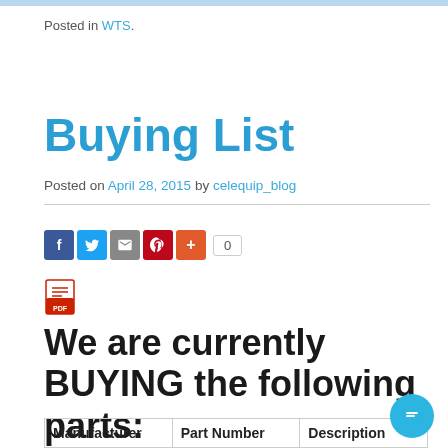Posted in WTS.
Buying List
Posted on April 28, 2015 by celequip_blog
[Figure (other): Social share buttons: Facebook, Twitter, Email, Pinterest, Plus, with count 0. PDF icon below.]
We are currently BUYING the following parts:
| Manufacturer | Part Number | Description |
| --- | --- | --- |